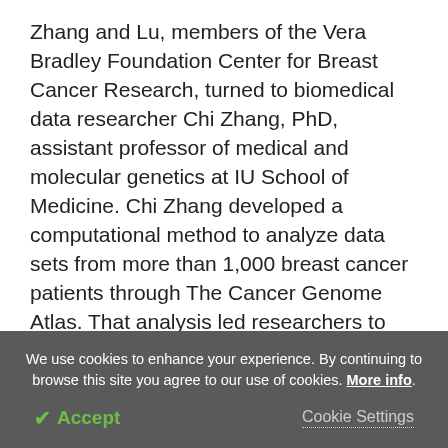Zhang and Lu, members of the Vera Bradley Foundation Center for Breast Cancer Research, turned to biomedical data researcher Chi Zhang, PhD, assistant professor of medical and molecular genetics at IU School of Medicine. Chi Zhang developed a computational method to analyze data sets from more than 1,000 breast cancer patients through The Cancer Genome Atlas. That analysis led researchers to MAL2; it showed that higher levels of MAL2 in breast cancer, and especially in triple-negative breast cancer (TNBC), was linked to poorer patient survival.
We use cookies to enhance your experience. By continuing to browse this site you agree to our use of cookies. More info.
✔ Accept
Cookie Settings